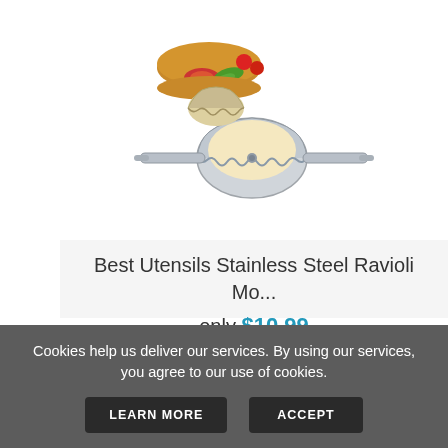[Figure (photo): Stainless steel ravioli/dumpling mold maker tool with crimped edges and a handle, shown with food items including sandwiches and vegetables in the background]
Best Utensils Stainless Steel Ravioli Mo...
only $10.99
★★★★★
VIEW
ADD TO CART
Cookies help us deliver our services. By using our services, you agree to our use of cookies.
LEARN MORE
ACCEPT